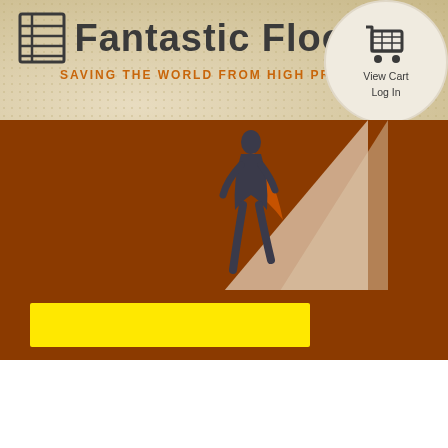[Figure (logo): Fantastic Floor logo with grid/floor icon and text 'Fantastic Floor', tagline 'Saving the World from High Prices', shopping cart circle with View Cart / Log In, superhero silhouette, brown hero banner, yellow search bar on brown background]
View Cart
Log In